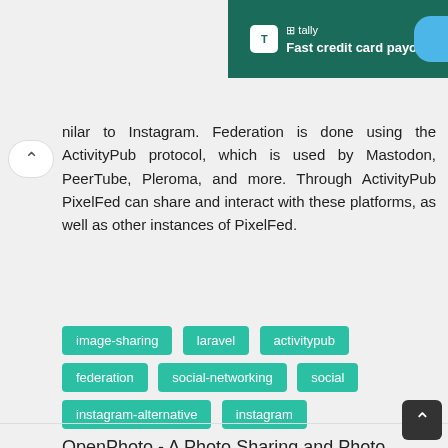[Figure (screenshot): Tally advertisement banner: dark teal background with Tally logo icon, text 'Fast credit card payoff', and a blue circle on the right edge.]
nilar to Instagram. Federation is done using the ActivityPub protocol, which is used by Mastodon, PeerTube, Pleroma, and more. Through ActivityPub PixelFed can share and interact with these platforms, as well as other instances of PixelFed.
image-sharing
laravel
activitypub
federation
social-networking
social
instagram-alternative
instagram
OpenPhoto - A Photo Sharing and Photo Management Application
★★★★ PHP